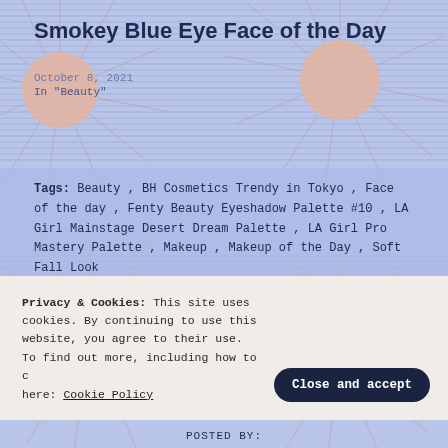Smokey Blue Eye Face of the Day
October 8, 2021
In "Beauty"
Tags:  Beauty , BH Cosmetics Trendy in Tokyo , Face of the day , Fenty Beauty Eyeshadow Palette #10 , LA Girl Mainstage Desert Dream Palette , LA Girl Pro Mastery Palette , Makeup , Makeup of the Day , Soft Fall Look
[Figure (illustration): Decorative background with lavender/periwinkle blue color, horizontal stripe pattern, and peach/coral sun-ray circular decorations scattered across the page]
Privacy & Cookies: This site uses cookies. By continuing to use this website, you agree to their use. To find out more, including how to control cookies, see here: Cookie Policy
Close and accept
POSTED BY: